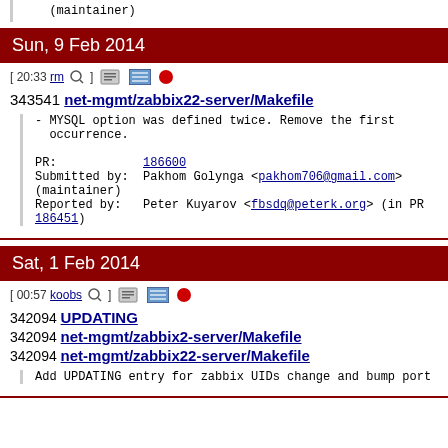(maintainer)
Sun, 9 Feb 2014
[ 20:33 rm ] [icons] 343541 net-mgmt/zabbix22-server/Makefile
- MYSQL option was defined twice. Remove the first occurrence.

PR: 186600
Submitted by: Pakhom Golynga <pakhom706@gmail.com> (maintainer)
Reported by: Peter Kuyarov <fbsdq@peterk.org> (in PR 186451)
Sat, 1 Feb 2014
[ 00:57 koobs ] [icons] 342094 UPDATING
342094 net-mgmt/zabbix2-server/Makefile
342094 net-mgmt/zabbix22-server/Makefile
Add UPDATING entry for zabbix UIDs change and bump port